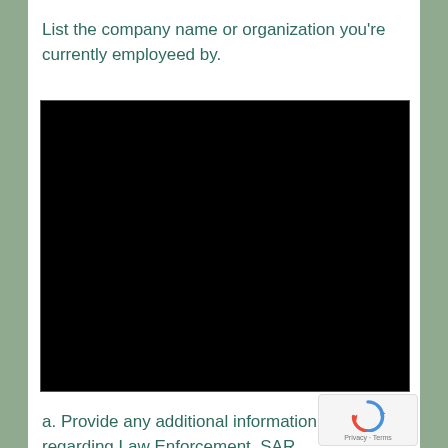List the company name or organization you're currently employeed by.
[Figure (other): Black redacted/blank input area for entering company or organization name]
a. Provide any additional information regarding Law Enforcement, SAR background etc.